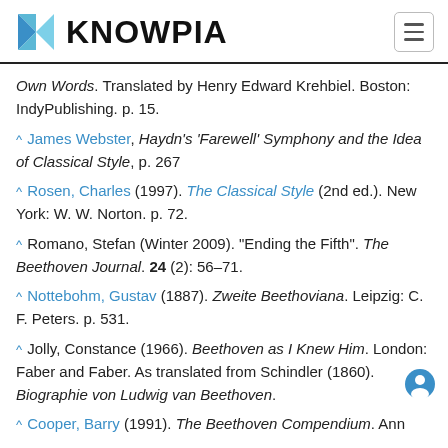KNOWPIA
Own Words. Translated by Henry Edward Krehbiel. Boston: IndyPublishing. p. 15.
^ James Webster, Haydn's 'Farewell' Symphony and the Idea of Classical Style, p. 267
^ Rosen, Charles (1997). The Classical Style (2nd ed.). New York: W. W. Norton. p. 72.
^ Romano, Stefan (Winter 2009). "Ending the Fifth". The Beethoven Journal. 24 (2): 56–71.
^ Nottebohm, Gustav (1887). Zweite Beethoviana. Leipzig: C. F. Peters. p. 531.
^ Jolly, Constance (1966). Beethoven as I Knew Him. London: Faber and Faber. As translated from Schindler (1860). Biographie von Ludwig van Beethoven.
^ Cooper, Barry (1991). The Beethoven Compendium. Ann